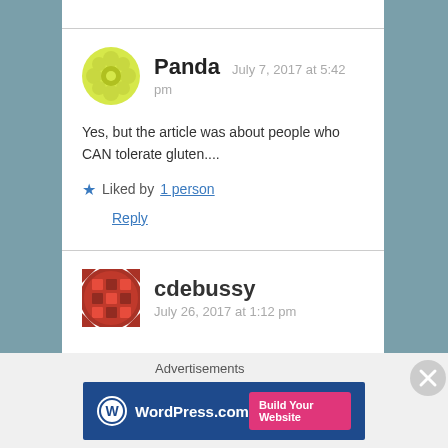Panda  July 7, 2017 at 5:42 pm
Yes, but the article was about people who CAN tolerate gluten....
Liked by 1 person
Reply
cdebussy  July 26, 2017 at 1:12 pm
Advertisements
[Figure (screenshot): WordPress.com advertisement banner with logo and 'Build Your Website' button]